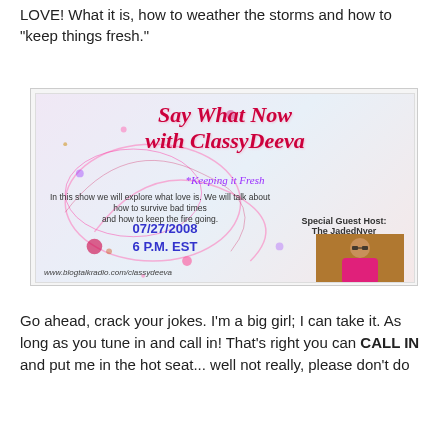LOVE! What it is, how to weather the storms and how to "keep things fresh."
[Figure (illustration): Radio show promotional banner for 'Say What Now with ClassyDeeva' featuring the episode '*Keeping it Fresh', date 07/27/2008, 6 P.M. EST, Special Guest Host: The JadedNyer, with photo of a woman in pink. Website: www.blogtalkradio.com/classydeeva]
Go ahead, crack your jokes. I'm a big girl; I can take it. As long as you tune in and call in! That's right you can CALL IN and put me in the hot seat... well not really, please don't do